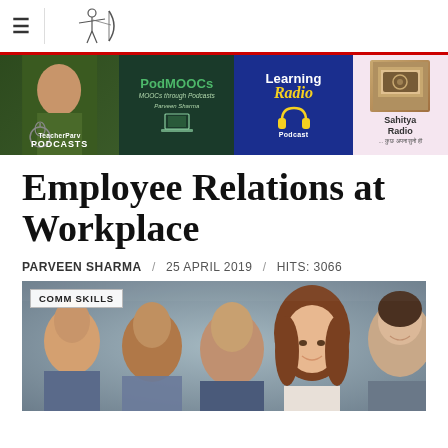≡  [Logo - archer figure]
[Figure (infographic): Banner strip with four podcast/radio tiles: TeacherParv Podcasts (photo of man), PodMOOCs - MOOCs through Podcasts by Parveen Sharma, Learning Radio Podcast (headphones graphic), Sahitya Radio]
Employee Relations at Workplace
PARVEEN SHARMA  /  25 APRIL 2019  /  HITS: 3066
[Figure (photo): Group of smiling business professionals in office attire, with a woman with long brown hair prominent in the center foreground. Label 'COMM SKILLS' overlaid top-left.]